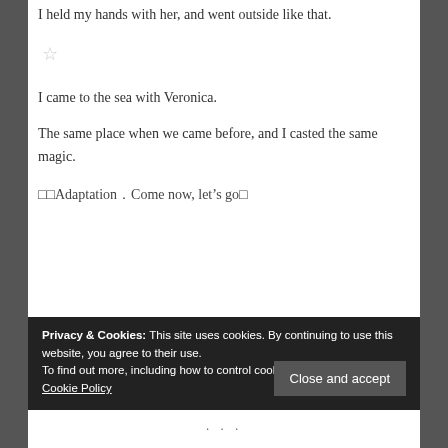I held my hands with her, and went outside like that.
☆
I came to the sea with Veronica.
The same place when we came before, and I casted the same magic.
□□Adaptation．Come now, let's go□
Privacy & Cookies: This site uses cookies. By continuing to use this website, you agree to their use.
To find out more, including how to control cookies, see here: Our Cookie Policy
Close and accept
· · ·